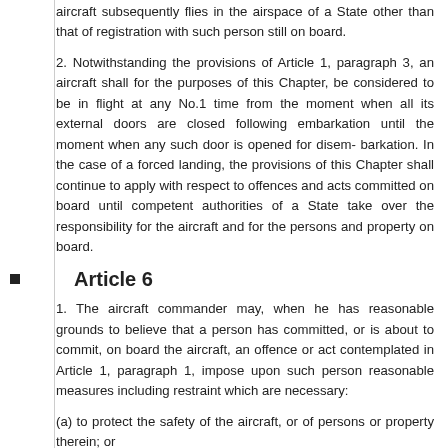aircraft subsequently flies in the airspace of a State other than that of registration with such person still on board.
2. Notwithstanding the provisions of Article 1, paragraph 3, an aircraft shall for the purposes of this Chapter, be considered to be in flight at any No.1 time from the moment when all its external doors are closed following embarkation until the moment when any such door is opened for disem- barkation. In the case of a forced landing, the provisions of this Chapter shall continue to apply with respect to offences and acts committed on board until competent authorities of a State take over the responsibility for the aircraft and for the persons and property on board.
Article 6
1. The aircraft commander may, when he has reasonable grounds to believe that a person has committed, or is about to commit, on board the aircraft, an offence or act contemplated in Article 1, paragraph 1, impose upon such person reasonable measures including restraint which are necessary:
(a) to protect the safety of the aircraft, or of persons or property therein; or
(b) to maintain good order and discipline on board; or